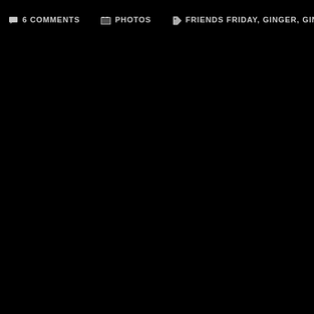💬 6 COMMENTS  📁 PHOTOS  🏷 FRIENDS FRIDAY, GINGER, GINGER M
[Figure (photo): Predominantly black/dark image filling the lower portion of the page]